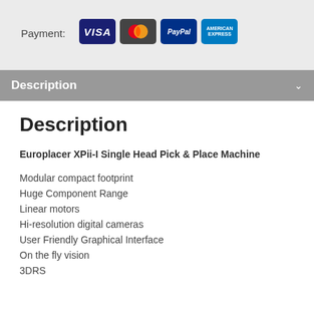Payment:
[Figure (logo): Payment method icons: VISA, Mastercard, PayPal, American Express]
Description
Description
Europlacer XPii-I Single Head Pick & Place Machine
Modular compact footprint
Huge Component Range
Linear motors
Hi-resolution digital cameras
User Friendly Graphical Interface
On the fly vision
3DRS